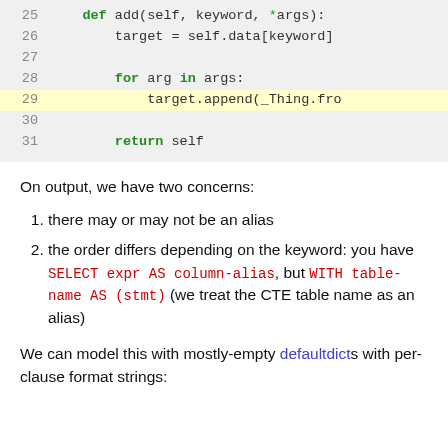[Figure (screenshot): Python code block showing lines 25-31 with syntax highlighting. Line 29 is highlighted in yellow. Code shows def add method with for loop and return statement.]
On output, we have two concerns:
there may or may not be an alias
the order differs depending on the keyword: you have SELECT expr AS column-alias, but WITH table-name AS (stmt) (we treat the CTE table name as an alias)
We can model this with mostly-empty defaultdicts with per-clause format strings: